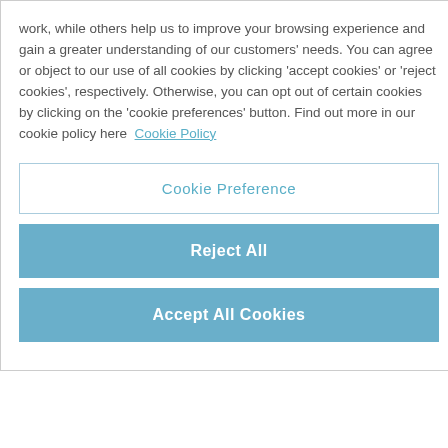work, while others help us to improve your browsing experience and gain a greater understanding of our customers' needs. You can agree or object to our use of all cookies by clicking 'accept cookies' or 'reject cookies', respectively. Otherwise, you can opt out of certain cookies by clicking on the 'cookie preferences' button. Find out more in our cookie policy here  Cookie Policy
Cookie Preference
Reject All
Accept All Cookies
market properties.
Located off Pixiefields, the £12m scheme benefits from enviable views of the Malvern Hills. The development comprises a total of 51 two, three and four bedroom family homes and